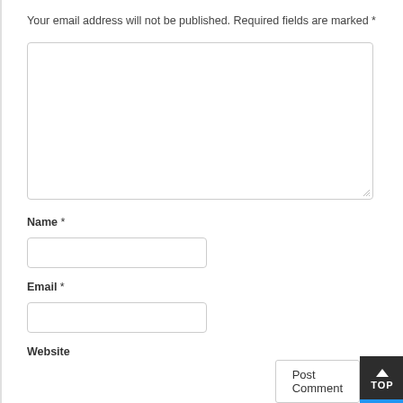Your email address will not be published. Required fields are marked *
[Figure (screenshot): Empty comment textarea input box with resize handle in bottom-right corner]
Name *
[Figure (screenshot): Empty name text input field]
Email *
[Figure (screenshot): Empty email text input field]
Website
[Figure (screenshot): Post Comment button and TOP navigation button overlay]